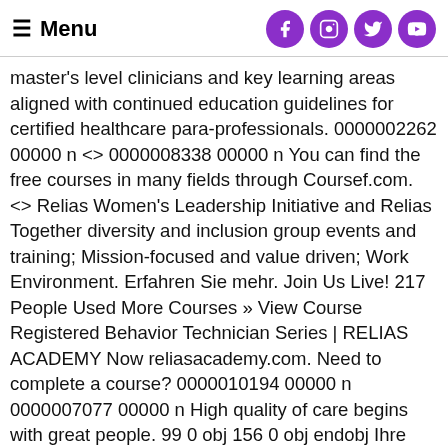Menu
master's level clinicians and key learning areas aligned with continued education guidelines for certified healthcare para-professionals. 0000002262 00000 n <> 0000008338 00000 n You can find the free courses in many fields through Coursef.com. <> Relias Women's Leadership Initiative and Relias Together diversity and inclusion group events and training; Mission-focused and value driven; Work Environment. Erfahren Sie mehr. Join Us Live! 217 People Used More Courses » View Course Registered Behavior Technician Series | RELIAS ACADEMY Now reliasacademy.com. Need to complete a course? 0000010194 00000 n 0000007077 00000 n High quality of care begins with great people. 99 0 obj 156 0 obj endobj Ihre Vorteile mit den E-Learning-Lösungen von Relias . CEO Ian Willis discusses his vision for the future of training at Abney & Baker, using the Relias system. xref 0000003663 00000 n 0000013329 00000 n Need more resources? Please be sure to take note of